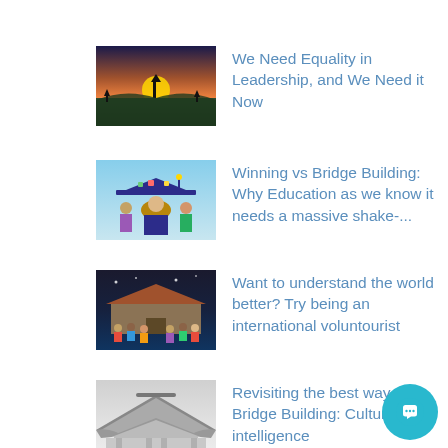[Figure (photo): Sunset silhouette landscape photo]
We Need Equality in Leadership, and We Need it Now
[Figure (photo): Graduation ceremony photo with decorated cap]
Winning vs Bridge Building: Why Education as we know it needs a massive shake-...
[Figure (photo): Group of people outside a traditional building]
Want to understand the world better? Try being an international voluntourist
[Figure (photo): Black and white photo of traditional rooftop architecture]
Revisiting the best way... Bridge Building: Cultural intelligence